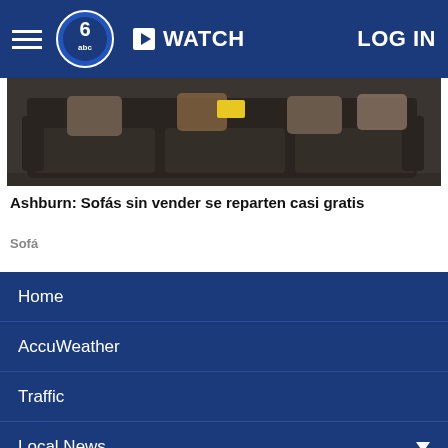WATCH  LOG IN
[Figure (photo): Photo of dark sofas/couches with pillows on them]
Ashburn: Sofás sin vender se reparten casi gratis
Sofá
Home
AccuWeather
Traffic
Local News
Categories
Station Info
Shows
Apps